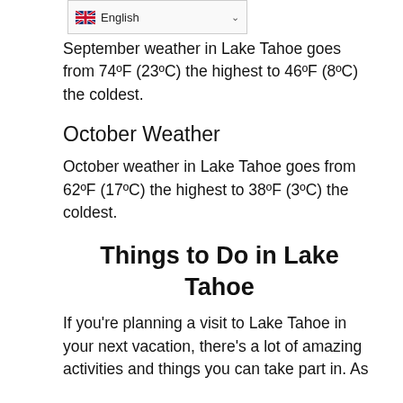[Figure (screenshot): Language selector dropdown showing UK flag and 'English' text with chevron]
September weather in Lake Tahoe goes from 74ºF (23ºC) the highest to 46ºF (8ºC) the coldest.
October Weather
October weather in Lake Tahoe goes from 62ºF (17ºC) the highest to 38ºF (3ºC) the coldest.
Things to Do in Lake Tahoe
If you're planning a visit to Lake Tahoe in your next vacation, there's a lot of amazing activities and things you can take part in. As